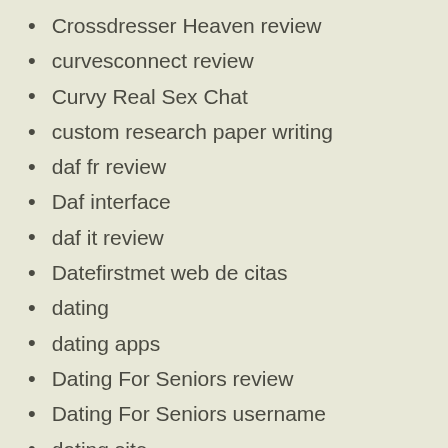Crossdresser Heaven review
curvesconnect review
Curvy Real Sex Chat
custom research paper writing
daf fr review
Daf interface
daf it review
Datefirstmet web de citas
dating
dating apps
Dating For Seniors review
Dating For Seniors username
dating site
dating website
Dating Websites Best